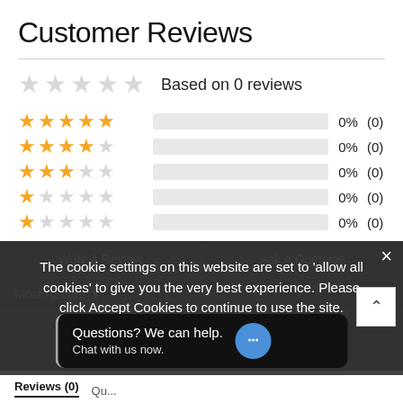Customer Reviews
Based on 0 reviews
| Stars | Bar | Percent | Count |
| --- | --- | --- | --- |
| 5 stars | 0% | 0% | (0) |
| 4 stars | 0% | 0% | (0) |
| 3 stars | 0% | 0% | (0) |
| 2 stars | 0% | 0% | (0) |
| 1 star | 0% | 0% | (0) |
Write A Review   Ask A Question
Most Recent
The cookie settings on this website are set to 'allow all cookies' to give you the very best experience. Please click Accept Cookies to continue to use the site.
Questions? We can help. Chat with us now.
Reviews (0)   Qu...